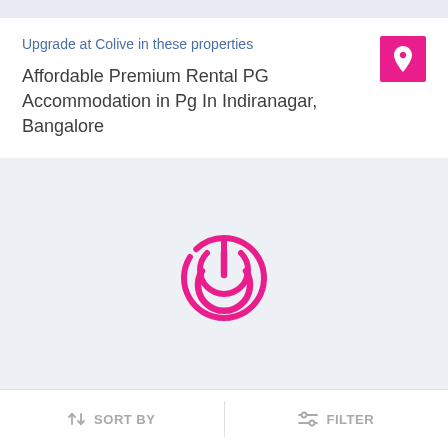Upgrade at Colive in these properties
Affordable Premium Rental PG Accommodation in Pg In Indiranagar, Bangalore
[Figure (logo): Pink power/Colive logo icon in a loading spinner style]
SORT BY | FILTER